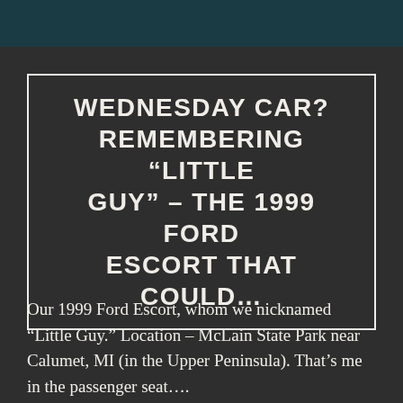WEDNESDAY CAR? REMEMBERING “LITTLE GUY” – THE 1999 FORD ESCORT THAT COULD…
Our 1999 Ford Escort, whom we nicknamed “Little Guy.” Location – McLain State Park near Calumet, MI (in the Upper Peninsula). That’s me in the passenger seat….